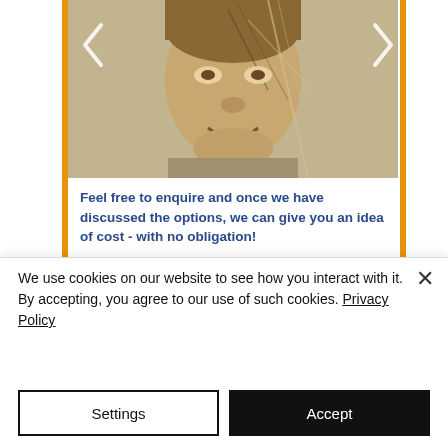[Figure (photo): Sepia-toned vintage photograph of a smiling child, with navigation arrows on left and right sides of the image]
Feel free to enquire and once we have discussed the options, we can give you an idea of cost - with no obligation!
Click here for more information >>
© 2020 In Sync Design Consultants
We use cookies on our website to see how you interact with it. By accepting, you agree to our use of such cookies. Privacy Policy
Settings
Accept